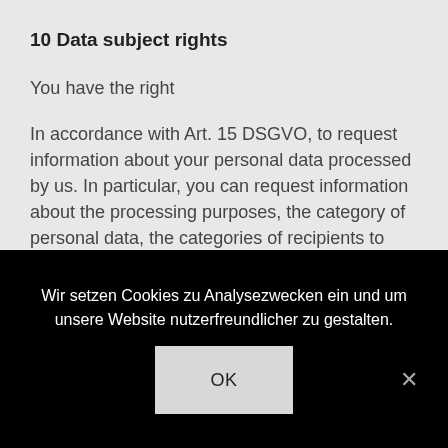10 Data subject rights
You have the right
In accordance with Art. 15 DSGVO, to request information about your personal data processed by us. In particular, you can request information about the processing purposes, the category of personal data, the categories of recipients to whom your data have been or will be disclosed, the planned storage period, the existence of a right to rectification, erasure, restriction of processing or objection, the existence
Wir setzen Cookies zu Analysezwecken ein und um unsere Website nutzerfreundlicher zu gestalten.
OK